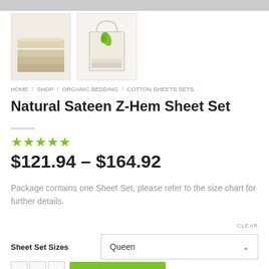[Figure (photo): Two product thumbnail images: left shows folded natural/beige linen sheets stacked, right shows the sheet set in a white tote bag with a green leaf decoration]
HOME / SHOP / ORGANIC BEDDING / COTTON SHEETS SETS
Natural Sateen Z-Hem Sheet Set
★★★★★
$121.94 – $164.92
Package contains one Sheet Set, please refer to the size chart for further details.
CLEAR
Sheet Set Sizes  Queen